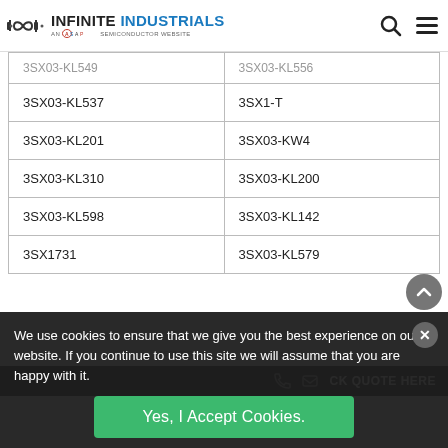INFINITE INDUSTRIALS — AN A.S.A.P. SEMICONDUCTOR WEBSITE
| 3SX03-KL549 | 3SX03-KL556 |
| 3SX03-KL537 | 3SX1-T |
| 3SX03-KL201 | 3SX03-KW4 |
| 3SX03-KL310 | 3SX03-KL200 |
| 3SX03-KL598 | 3SX03-KL142 |
| 3SX1731 | 3SX03-KL579 |
We use cookies to ensure that we give you the best experience on our website. If you continue to use this site we will assume that you are happy with it.
Yes, I Accept Cookies.
AS9120B, ... Accredited
CLICK QUOTE HERE